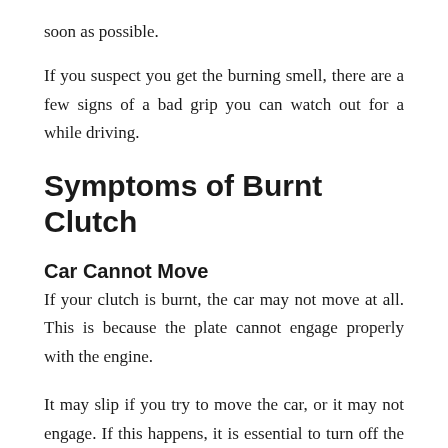soon as possible.
If you suspect you get the burning smell, there are a few signs of a bad grip you can watch out for a while driving.
Symptoms of Burnt Clutch
Car Cannot Move
If your clutch is burnt, the car may not move at all. This is because the plate cannot engage properly with the engine.
It may slip if you try to move the car, or it may not engage. If this happens, it is essential to turn off the engine and have the vehicle towed to a mechanic as